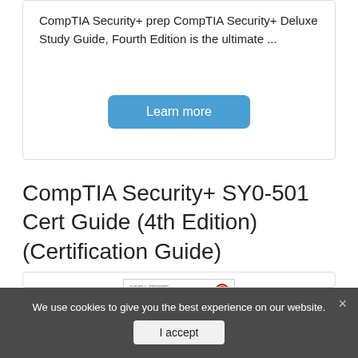CompTIA Security+ prep CompTIA Security+ Deluxe Study Guide, Fourth Edition is the ultimate ...
Learn more
CompTIA Security+ SY0-501 Cert Guide (4th Edition) (Certification Guide)
[Figure (photo): Book cover of CompTIA Security+ SY0-501 Cert Guide by David L. Prowse, showing Cert Guide branding with a Pearson IT Certification logo]
We use cookies to give you the best experience on our website.
I accept